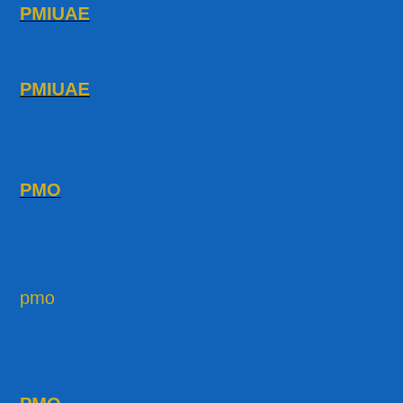PMIUAE
PMO
pmo
PMO
PMO
PMO Blog
PMO consultant
PMO Consultant
PMO Executive